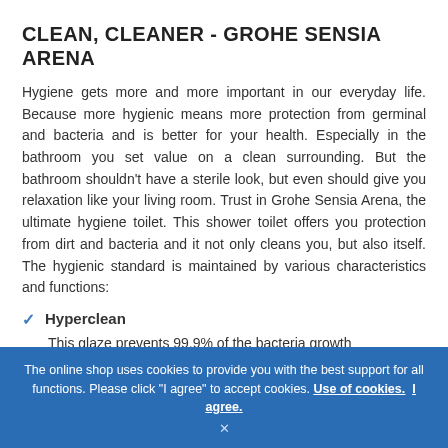CLEAN, CLEANER - GROHE SENSIA ARENA
Hygiene gets more and more important in our everyday life. Because more hygienic means more protection from germinal and bacteria and is better for your health. Especially in the bathroom you set value on a clean surrounding. But the bathroom shouldn't have a sterile look, but even should give you relaxation like your living room. Trust in Grohe Sensia Arena, the ultimate hygiene toilet. This shower toilet offers you protection from dirt and bacteria and it not only cleans you, but also itself. The hygienic standard is maintained by various characteristics and functions:
Hyperclean
This glaze prevents 99.9% of the bacteria growth...